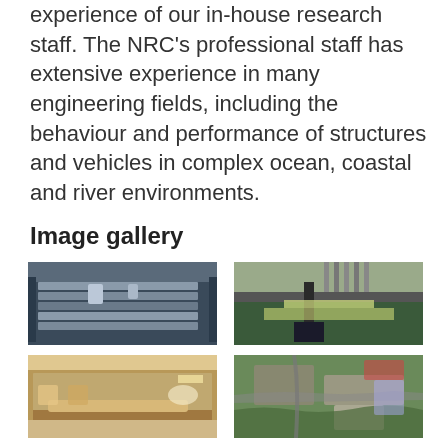experience of our in-house research staff. The NRC's professional staff has extensive experience in many engineering fields, including the behaviour and performance of structures and vehicles in complex ocean, coastal and river environments.
Image gallery
[Figure (photo): Aerial/overhead view of a wave flume or hydraulic testing tank with equipment and structures inside a laboratory facility]
[Figure (photo): Close-up of a hydraulic structure or dam gate with water spray and yellow turbulent flow visible]
[Figure (photo): Glass-sided wave tank showing sediment or material on the bottom, lit from above]
[Figure (photo): Aerial view of a large research campus or facility with roads, green spaces and buildings]